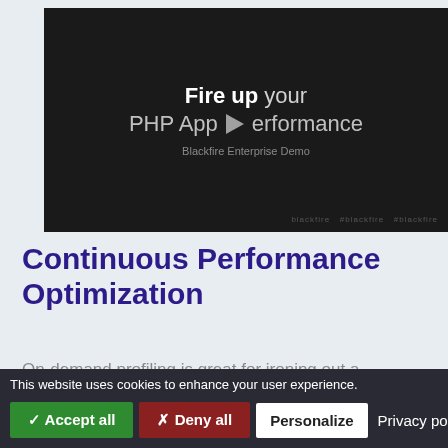[Figure (screenshot): Dark video thumbnail showing 'Fire up your PHP App Performance' text with a play button in the center, subtitle 'Blackfire Enterprise Demo', and watermark text at bottom right]
Continuous Performance Optimization
On-demand profiling is great for ironing out a
This website uses cookies to enhance your user experience. ✓ Accept all  ✗ Deny all  Personalize  Privacy policy